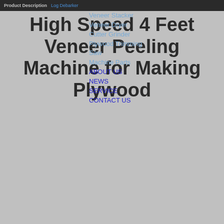Product Description  Log Debarker
High Speed 4 Feet Veneer Peeling Machine for Making Plywood
Veneer Stacker
Veneer Dryer
Cutter Grinder
Plywood Trimming Saw
Machine Parts
ABOUT US
NEWS
SERVICE
CONTACT US